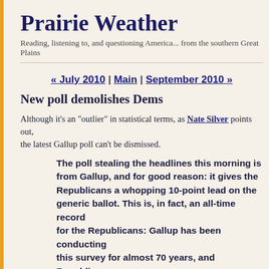Prairie Weather
Reading, listening to, and questioning America... from the southern Great Plains
« July 2010 | Main | September 2010 »
New poll demolishes Dems
Although it's an "outlier" in statistical terms, as Nate Silver points out, the latest Gallup poll can't be dismissed.
The poll stealing the headlines this morning is from Gallup, and for good reason: it gives the Republicans a whopping 10-point lead on the generic ballot. This is, in fact, an all-time record for the Republicans: Gallup has been conducting this survey for almost 70 years, and Republicans have never managed to have quite that large an edge before.